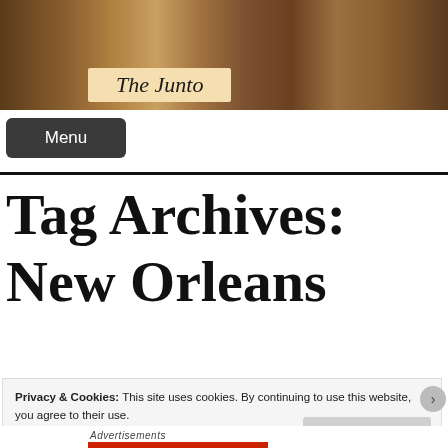[Figure (illustration): Banner image for 'The Junto' blog showing a historical painting of a group of people gathered in a tavern-like setting, with 'The Junto' text in a tan/cream colored box overlay at the bottom center of the banner.]
Menu
Tag Archives: New Orleans
Privacy & Cookies: This site uses cookies. By continuing to use this website, you agree to their use.
To find out more, including how to control cookies, see here: Cookie Policy
Close and accept
Advertisements